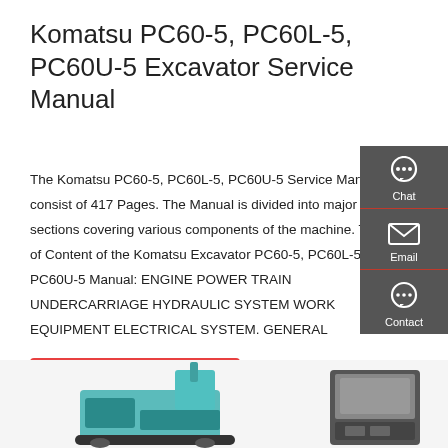Komatsu PC60-5, PC60L-5, PC60U-5 Excavator Service Manual
The Komatsu PC60-5, PC60L-5, PC60U-5 Service Manual consist of 417 Pages. The Manual is divided into major sections covering various components of the machine. Table of Content of the Komatsu Excavator PC60-5, PC60L-5, PC60U-5 Manual: ENGINE POWER TRAIN UNDERCARRIAGE HYDRAULIC SYSTEM WORK EQUIPMENT ELECTRICAL SYSTEM. GENERAL
[Figure (other): Sidebar with Chat, Email, and Contact icons on dark grey background]
[Figure (photo): Bottom portion showing Komatsu PC60 excavator and cab component photographs]